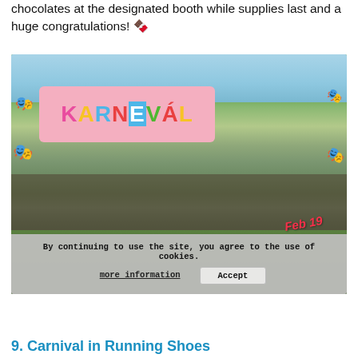chocolates at the designated booth while supplies last and a huge congratulations! 🍫
[Figure (photo): Outdoor carnival/market scene with crowds of people, trees in background, and a colorful 'KARNEVÁL' banner overlay. Decorative masks around the image. 'Feb 19' text in red. Cookie consent banner overlaid at bottom with 'more information' and 'Accept' buttons.]
9. Carnival in Running Shoes